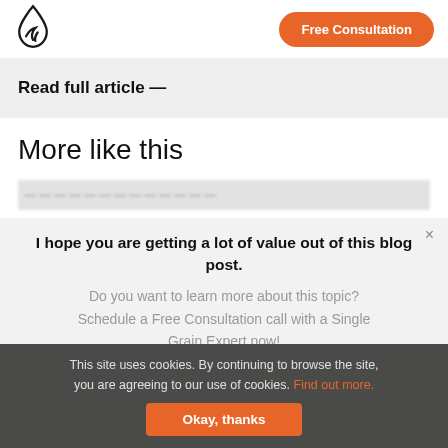[Figure (logo): Single Grain teardrop/flame logo in black outline]
Free Consultation
Read full article —
More like this
I hope you are getting a lot of value out of this blog post.
Do you want to learn more about this topic? Schedule a Free Consultation call with a Single Grain Expert now!
This site uses cookies. By continuing to browse the site, you are agreeing to our use of cookies. Find out more.
Okay, thanks